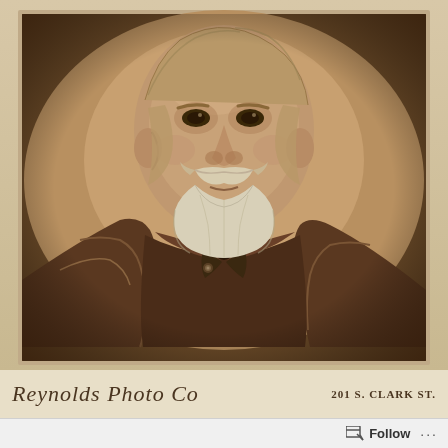[Figure (photo): Sepia-toned antique cabinet card portrait photograph of a middle-aged man with white mustache and goatee, wearing a dark suit jacket with a bow tie and decorative pin. The image has a warm sepia tone typical of late 19th century photography. The background is plain and the man is shown from the waist up facing slightly to the right.]
Reynolds Photo Co  201 S. CLARK ST.
Follow ...